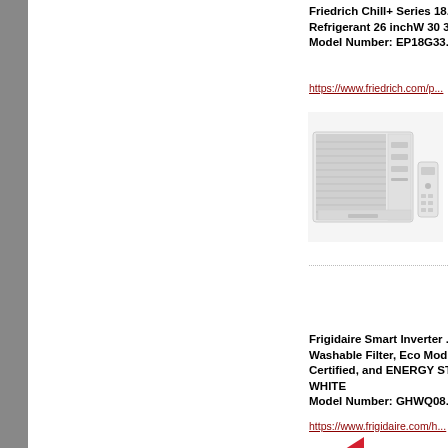Friedrich Chill+ Series 18... Refrigerant 26 inchW 30 3... Model Number: EP18G33...
https://www.friedrich.com/p...
[Figure (photo): Photo of Friedrich Chill+ window air conditioner unit with remote control]
Frigidaire Smart Inverter ... Washable Filter, Eco Mod... Certified, and ENERGY S... WHITE
Model Number: GHWQ08...
https://www.frigidaire.com/h...
[Figure (logo): Frigidaire logo (red triangular shape)]